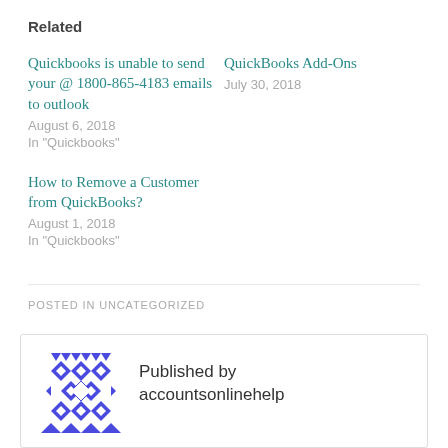Related
Quickbooks is unable to send your @ 1800-865-4183 emails to outlook
August 6, 2018
In "Quickbooks"
QuickBooks Add-Ons
July 30, 2018
How to Remove a Customer from QuickBooks?
August 1, 2018
In "Quickbooks"
POSTED IN UNCATEGORIZED
Published by accountsonlinehelp